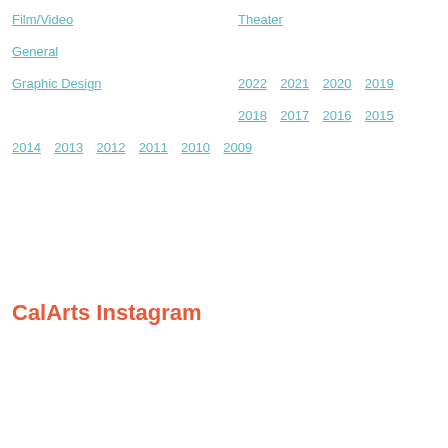Film/Video
Theater
General
Graphic Design
2022  2021  2020  2019
2018  2017  2016  2015
2014  2013  2012  2011  2010  2009
CalArts Instagram